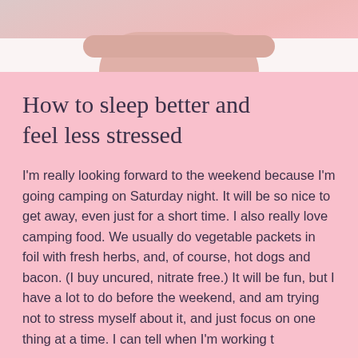[Figure (photo): A person lying in bed with arms crossed over white pillows, suggesting rest or sleep.]
How to sleep better and feel less stressed
I'm really looking forward to the weekend because I'm going camping on Saturday night. It will be so nice to get away, even just for a short time. I also really love camping food. We usually do vegetable packets in foil with fresh herbs, and, of course, hot dogs and bacon. (I buy uncured, nitrate free.) It will be fun, but I have a lot to do before the weekend, and am trying not to stress myself about it, and just focus on one thing at a time. I can tell when I'm working t